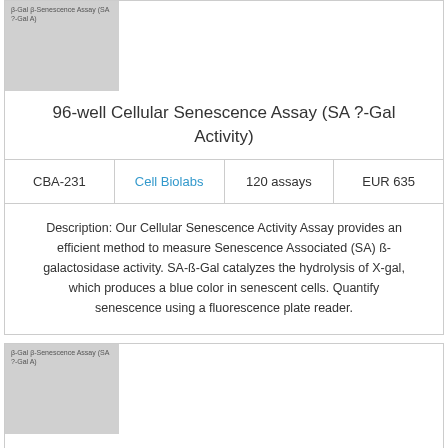[Figure (photo): Gray placeholder image with text 'β-Gal β-Senescence Assay (SA ?-Gal A)']
96-well Cellular Senescence Assay (SA ?-Gal Activity)
| CBA-231 | Cell Biolabs | 120 assays | EUR 635 |
| --- | --- | --- | --- |
Description: Our Cellular Senescence Activity Assay provides an efficient method to measure Senescence Associated (SA) ß-galactosidase activity. SA-ß-Gal catalyzes the hydrolysis of X-gal, which produces a blue color in senescent cells. Quantify senescence using a fluorescence plate reader.
[Figure (photo): Gray placeholder image with text 'β-Gal β-Senescence Assay (SA ?-Gal A)']
96-well Cellular Senescence Assay (SA ?-Gal